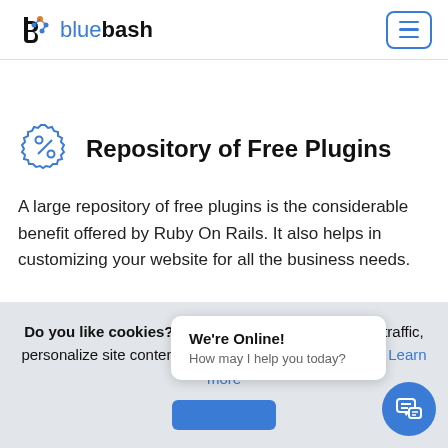[Figure (logo): Bluebash logo with icon and text 'bluebash' in blue]
[Figure (other): Hamburger menu button with three horizontal blue lines inside a rounded blue border]
Repository of Free Plugins
A large repository of free plugins is the considerable benefit offered by Ruby On Rails. It also helps in customizing your website for all the business needs.
Do you like cookies? 🍪 We use cookies to analyze traffic, personalize site content, and for social media features. Learn more
We're Online!
How may I help you today?